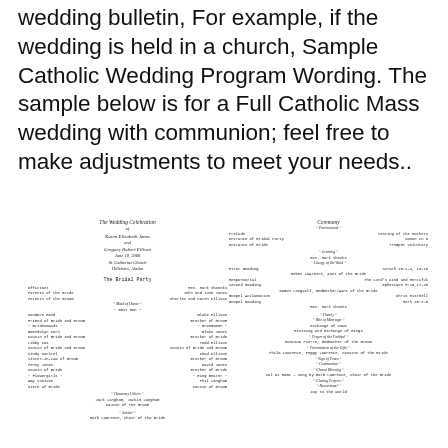wedding bulletin, For example, if the wedding is held in a church, Sample Catholic Wedding Program Wording. The sample below is for a Full Catholic Mass wedding with communion; feel free to make adjustments to meet your needs..
[Figure (illustration): A two-panel wedding program bulletin. Left panel shows 'The Wedding Celebration of Karen Elizabeth Jones and Gregory Robert Ellison, June 10, 2008, St. Catherine Church, Hillsboro, Alaska' and 'The Bridal Party' with a list of officials, family and wedding party members. Right panel shows 'Ceremony' with processional, greeting, readings, homily, rite of marriage, vows, exchange of rings, and other liturgical elements.]